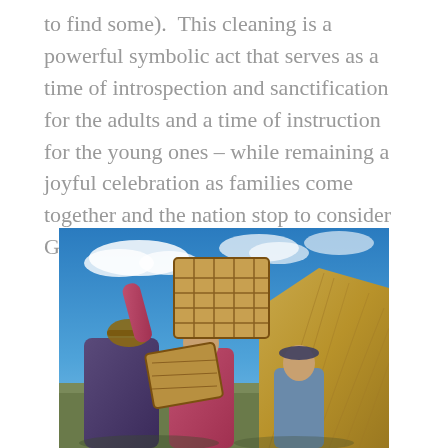to find some).  This cleaning is a powerful symbolic act that serves as a time of introspection and sanctification for the adults and a time of instruction for the young ones – while remaining a joyful celebration as families come together and the nation stop to consider God.
[Figure (photo): Outdoor photograph showing people working with large woven baskets and straw/hay under a vivid blue sky with white clouds. One person wearing a pink jacket and wide-brim hat lifts a large square woven basket overhead, while another person in grey and blue clothing holds another basket. Dried hay or straw is piled on the right side.]